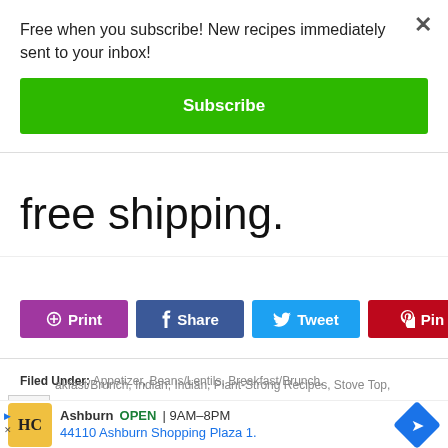Free when you subscribe! New recipes immediately sent to your inbox!
Subscribe
free shipping.
[Figure (other): Social share buttons: Print (purple), Share (blue/Facebook), Tweet (cyan/Twitter), Pin (red/Pinterest)]
Filed Under: Appetizer, Beans/Lentils, Breakfast/Brunch, akfast/Brunch, Indian, Indian, Plant-Strong Recipes, Stove Top,
[Figure (screenshot): Local business ad: HC logo, Ashburn OPEN 9AM-8PM, 44110 Ashburn Shopping Plaza 1., navigation icon, View store hours]